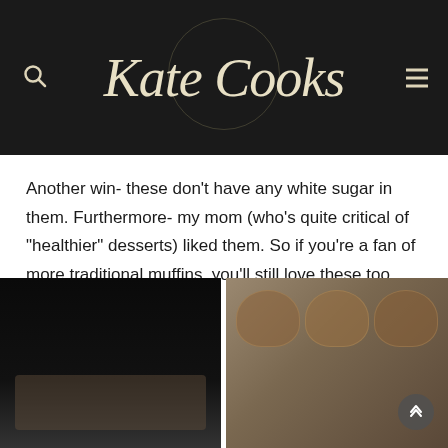Kate Cooks
Another win- these don't have any white sugar in them. Furthermore- my mom (who's quite critical of "healthier" desserts) liked them. So if you're a fan of more traditional muffins, you'll still love these too.
[Figure (photo): Dark moody photo of muffins in a muffin tin on a window sill]
[Figure (photo): Overhead view of baked muffins with nuts in a dark muffin tin]